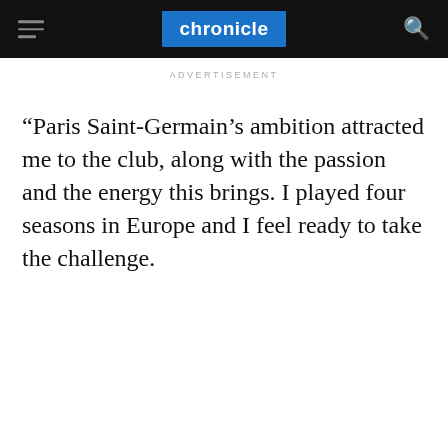chronicle
ADVERTISEMENT
“Paris Saint-Germain’s ambition attracted me to the club, along with the passion and the energy this brings. I played four seasons in Europe and I feel ready to take the challenge.